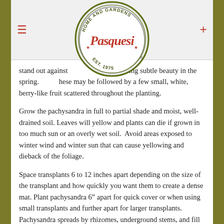Pasquesi Home and Gardens — Est. 1975
stand out against leaves providing subtle beauty in the spring. These may be followed by a few small, white, berry-like fruit scattered throughout the planting.
Grow the pachysandra in full to partial shade and moist, well-drained soil. Leaves will yellow and plants can die if grown in too much sun or an overly wet soil. Avoid areas exposed to winter wind and winter sun that can cause yellowing and dieback of the foliage.
Space transplants 6 to 12 inches apart depending on the size of the transplant and how quickly you want them to create a dense mat. Plant pachysandra 6” apart for quick cover or when using small transplants and further apart for larger transplants. Pachysandra spreads by rhizomes, underground stems, and fill in to form a continuous carpet of green.
Spread a layer of shredded leaves, twice shredded bark or other organic mulch over the soil surface after